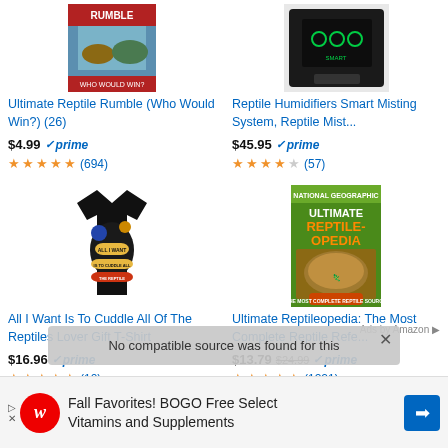[Figure (photo): Product image: Ultimate Reptile Rumble book cover]
Ultimate Reptile Rumble (Who Would Win?) (26)
$4.99 prime ★★★★★ (694)
[Figure (photo): Product image: Reptile Humidifiers Smart Misting System device]
Reptile Humidifiers Smart Misting System, Reptile Mist...
$45.95 prime ★★★★☆ (57)
[Figure (photo): Product image: Black reptile lover gift t-shirt]
All I Want Is To Cuddle All Of The Reptiles Lover Gift T-Shirt
$16.96 prime ★★★★☆ (10)
[Figure (photo): Product image: Ultimate Reptileopedia book cover by National Geographic]
Ultimate Reptileopedia: The Most Complete Reptile Refe...
$13.79 $24.99 prime ★★★★★ (1221)
No compatible source was found for this
Ads by Amazon
Fall Favorites! BOGO Free Select Vitamins and Supplements